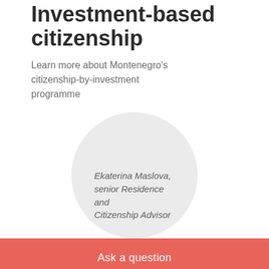Investment-based citizenship
Learn more about Montenegro's citizenship-by-investment programme
[Figure (illustration): Circular avatar placeholder with italic text identifying Ekaterina Maslova, senior Residence and Citizenship Advisor]
Ask a question
How to buy property with Tranio
Step Enquir…